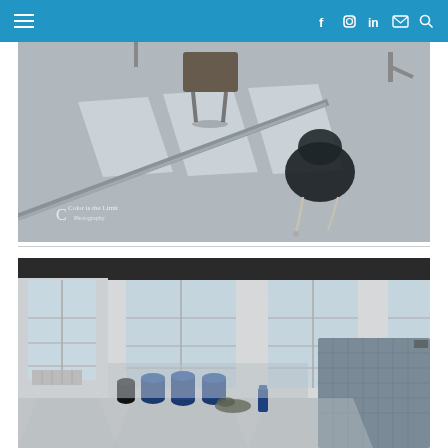Navigation bar with hamburger menu and social icons (Facebook, Instagram, LinkedIn, Email, Search)
[Figure (photo): Overhead/aerial view of a gym or studio space with concrete floor, window light casting rectangular shadows, a metal pole/bar visible, and a dark backpack or bag on the floor. Watermark: Color is the Limit Photography.]
[Figure (photo): Interior of a large bright studio or gym space with tall arched windows, natural light, blue cylindrical punching bags standing on the floor, a water bottle and gym bag on the floor, and a large padded panel on the right.]